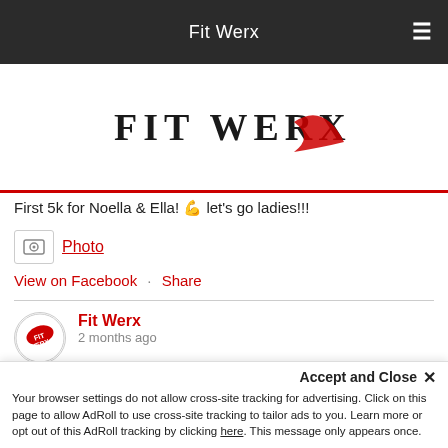Fit Werx
[Figure (logo): Fit Werx logo with red swoosh and bold text]
First 5k for Noella & Ella! 💪 let's go ladies!!!
Photo
View on Facebook · Share
Fit Werx
2 months ago
We are hiring in Peabody!
Fit Werx (TBD) in Peabody is currently...
Sign Up For Our Newsletter
Accept and Close ✕
Your browser settings do not allow cross-site tracking for advertising. Click on this page to allow AdRoll to use cross-site tracking to tailor ads to you. Learn more or opt out of this AdRoll tracking by clicking here. This message only appears once.